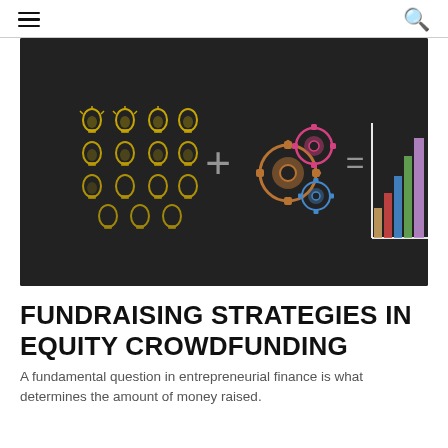[Figure (illustration): Chalkboard illustration showing lightbulb icons arranged in a grid, plus sign, colorful gears, equals sign, and a bar chart — representing the concept of crowdfunding ideas plus mechanisms equals financial results.]
FUNDRAISING STRATEGIES IN EQUITY CROWDFUNDING
A fundamental question in entrepreneurial finance is what determines the amount of money raised.